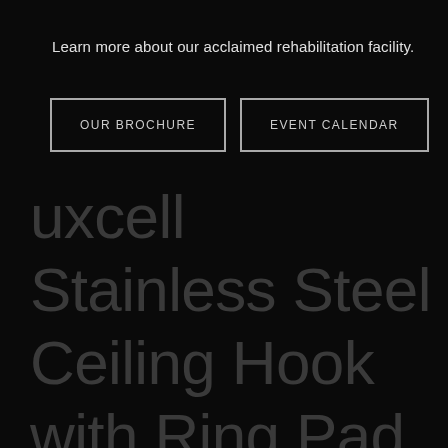Learn more about our acclaimed rehabilitation facility.
OUR BROCHURE
EVENT CALENDAR
uxcell Stainless Steel Ceiling Hook with Ring Pad Eye Plate Hardware 65mmX40mm Staple Hooks Loop Wall Mount